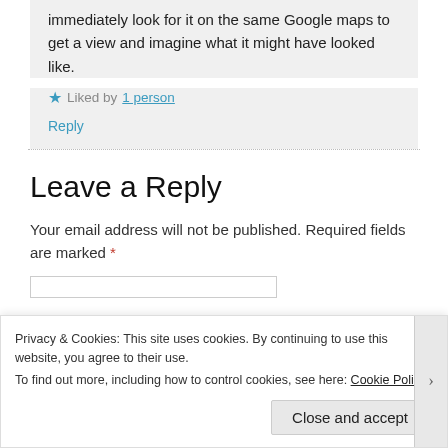immediately look for it on the same Google maps to get a view and imagine what it might have looked like.
★ Liked by 1 person
Reply
Leave a Reply
Your email address will not be published. Required fields are marked *
Privacy & Cookies: This site uses cookies. By continuing to use this website, you agree to their use.
To find out more, including how to control cookies, see here: Cookie Policy
Close and accept